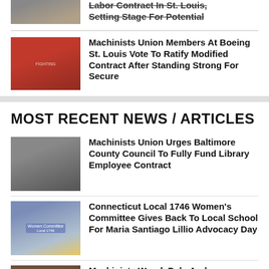[Figure (photo): Partial cropped photo at top of page, showing outdoor scene]
Labor Contract In St. Louis, Setting Stage For Potential
[Figure (photo): Union members in red shirts with FIGHTING text on backs, seated in rows]
Machinists Union Members At Boeing St. Louis Vote To Ratify Modified Contract After Standing Strong For Secure
MOST RECENT NEWS / ARTICLES
[Figure (photo): Group of people indoors, some wearing masks, holding a basket]
Machinists Union Urges Baltimore County Council To Fully Fund Library Employee Contract
[Figure (photo): Women's Committee table at outdoor event with banner reading Women Committee]
Connecticut Local 1746 Women's Committee Gives Back To Local School For Maria Santiago Lillio Advocacy Day
[Figure (photo): Dark outdoor industrial scene, partial view]
Machinists Wood, Pulp And